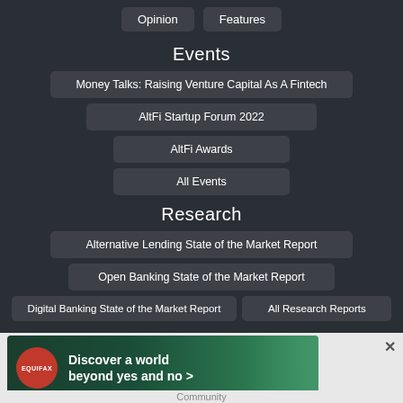Opinion
Features
Events
Money Talks: Raising Venture Capital As A Fintech
AltFi Startup Forum 2022
AltFi Awards
All Events
Research
Alternative Lending State of the Market Report
Open Banking State of the Market Report
Digital Banking State of the Market Report
All Research Reports
[Figure (infographic): Equifax advertisement banner: red circular logo with EQUIFAX text, green background with text 'Discover a world beyond yes and no >' and an image of hands. Close button (x) on right.]